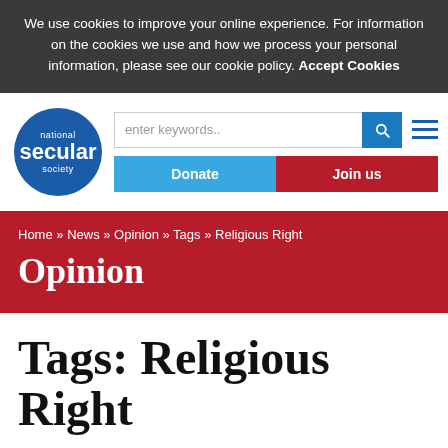We use cookies to improve your online experience. For information on the cookies we use and how we process your personal information, please see our cookie policy. Accept Cookies
[Figure (logo): National Secular Society circular logo in blue with white text]
enter keywords..
Donate
Join us
Home » News » Opinion » Tags » Religious Right
Opinion
Tags: Religious Right